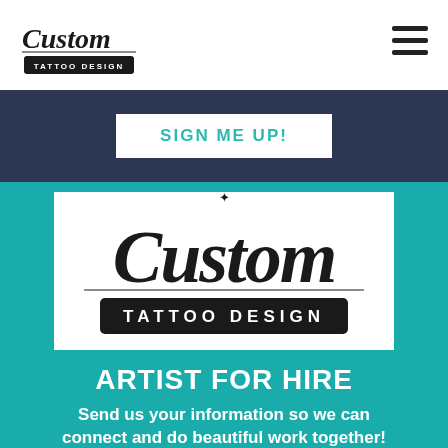[Figure (logo): Custom Tattoo Design logo — decorative gothic script 'Custom' above a black banner reading 'TATTOO DESIGN', small version in top-left header]
SIGN ME UP!
[Figure (logo): Custom Tattoo Design logo — large decorative gothic script 'Custom' above a black banner reading 'TATTOO DESIGN', on white card background]
ARTIST FOR HIRE
Send us your information so we can connect and do beautiful work together!